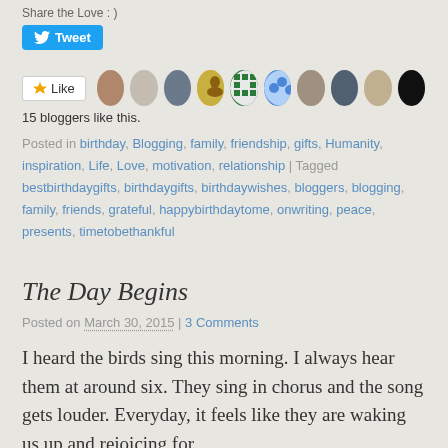Share the Love : )
[Figure (other): Twitter Tweet button (blue rounded rectangle with bird icon and 'Tweet' text)]
[Figure (other): Like button with star icon followed by a row of 10 blogger avatar thumbnails]
15 bloggers like this.
Posted in birthday, Blogging, family, friendship, gifts, Humanity, inspiration, Life, Love, motivation, relationship | Tagged bestbirthdaygifts, birthdaygifts, birthdaywishes, bloggers, blogging, family, friends, grateful, happybirthdaytome, onwriting, peace, presents, timetobethankful
The Day Begins
Posted on March 30, 2015 | 3 Comments
I heard the birds sing this morning. I always hear them at around six. They sing in chorus and the song gets louder. Everyday, it feels like they are waking us up and rejoicing for